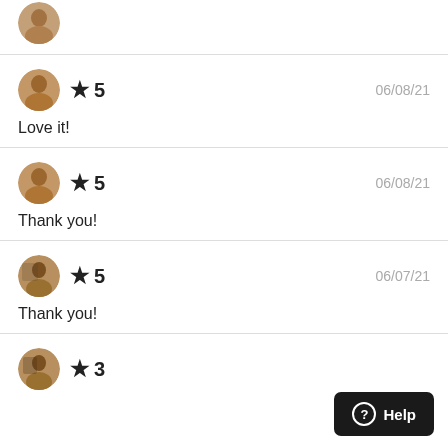[Figure (photo): Partial avatar of a reviewer at top of page, cropped]
★ 5   06/08/21
Love it!
★ 5   06/08/21
Thank you!
★ 5   06/07/21
Thank you!
★ 3